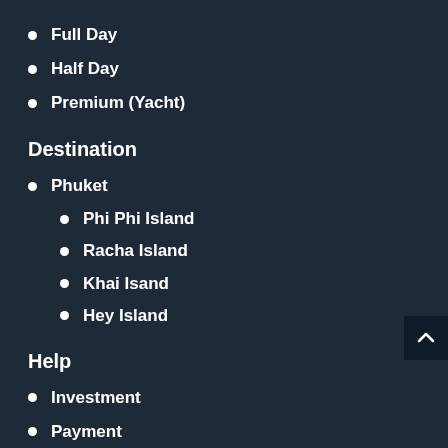Full Day
Half Day
Premium (Yacht)
Destination
Phuket
Phi Phi Island
Racha Island
Khai Isand
Hey Island
Help
Investment
Payment